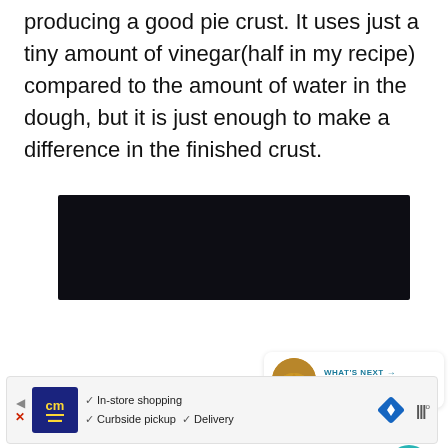producing a good pie crust. It uses just a tiny amount of vinegar(half in my recipe) compared to the amount of water in the dough, but it is just enough to make a difference in the finished crust.
[Figure (photo): Dark/black rectangular image area, likely a food photo that is very dark or not fully loaded]
[Figure (infographic): UI overlay: teal heart button with count 811, white share button, and a 'WHAT'S NEXT' card showing Caramelized Onion Tart]
[Figure (infographic): Advertisement bar: CM logo, checkmarks for In-store shopping, Curbside pickup, Delivery, navigation diamond icon, wifi-like icon]